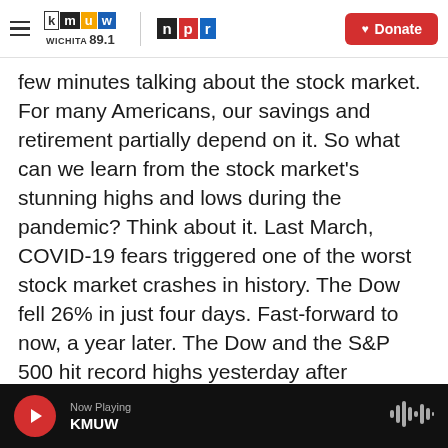kmuw WICHITA 89.1 | npr | Donate
few minutes talking about the stock market. For many Americans, our savings and retirement partially depend on it. So what can we learn from the stock market's stunning highs and lows during the pandemic? Think about it. Last March, COVID-19 fears triggered one of the worst stock market crashes in history. The Dow fell 26% in just four days. Fast-forward to now, a year later. The Dow and the S&P 500 hit record highs yesterday after President Biden signed his COVID relief package into law. The rebound is astounding, historic and also pretty confusing.
Now Playing KMUW